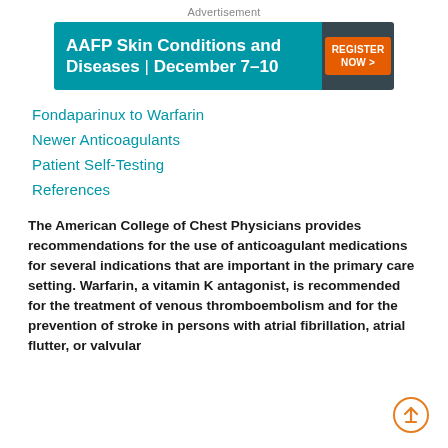Advertisement
[Figure (other): AAFP Skin Conditions and Diseases advertisement banner with teal background. Text reads: AAFP Skin Conditions and Diseases | December 7–10. Orange REGISTER NOW > button on dark grey right panel.]
Fondaparinux to Warfarin
Newer Anticoagulants
Patient Self-Testing
References
The American College of Chest Physicians provides recommendations for the use of anticoagulant medications for several indications that are important in the primary care setting. Warfarin, a vitamin K antagonist, is recommended for the treatment of venous thromboembolism and for the prevention of stroke in persons with atrial fibrillation, atrial flutter, or valvular